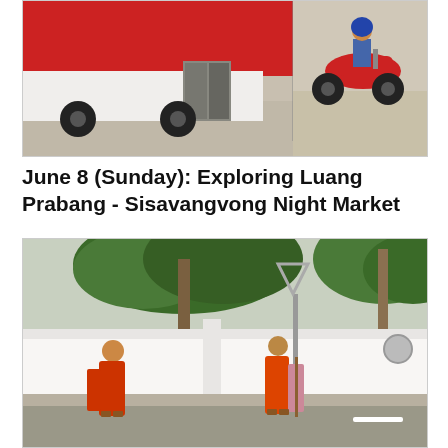[Figure (photo): Photo of a red bus with open door on the left side, and a motorcycle with rider on the right side, in a street setting]
June 8 (Sunday): Exploring Luang Prabang - Sisavangvong Night Market
[Figure (photo): Photo of two Buddhist monks wearing red/orange robes walking along a street with a white wall and green trees in the background in Luang Prabang]